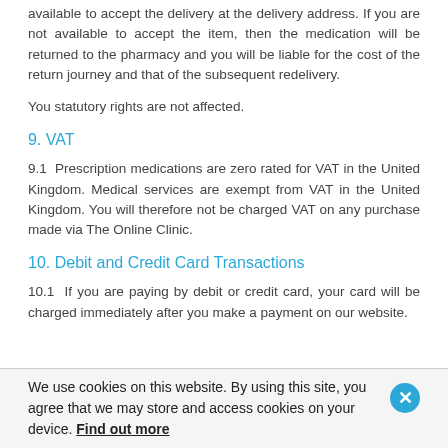available to accept the delivery at the delivery address. If you are not available to accept the item, then the medication will be returned to the pharmacy and you will be liable for the cost of the return journey and that of the subsequent redelivery.
You statutory rights are not affected.
9. VAT
9.1  Prescription medications are zero rated for VAT in the United Kingdom. Medical services are exempt from VAT in the United Kingdom. You will therefore not be charged VAT on any purchase made via The Online Clinic.
10. Debit and Credit Card Transactions
10.1  If you are paying by debit or credit card, your card will be charged immediately after you make a payment on our website.
We use cookies on this website. By using this site, you agree that we may store and access cookies on your device. Find out more